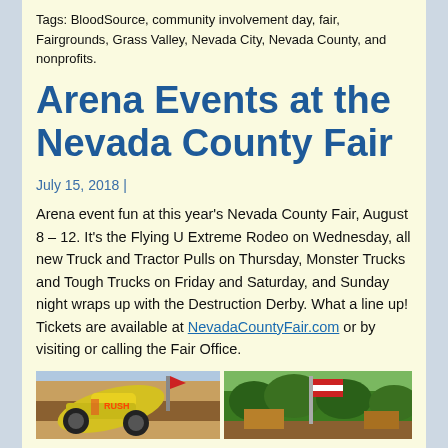Tags: BloodSource, community involvement day, fair, Fairgrounds, Grass Valley, Nevada City, Nevada County, and nonprofits.
Arena Events at the Nevada County Fair
July 15, 2018 |
Arena event fun at this year's Nevada County Fair, August 8 – 12. It's the Flying U Extreme Rodeo on Wednesday, all new Truck and Tractor Pulls on Thursday, Monster Trucks and Tough Trucks on Friday and Saturday, and Sunday night wraps up with the Destruction Derby. What a line up! Tickets are available at NevadaCountyFair.com or by visiting or calling the Fair Office.
[Figure (photo): Two photos side by side: left shows a yellow monster truck, right shows a scene with a flag at a fairground]